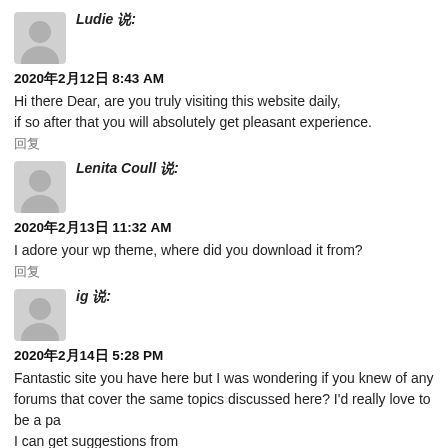Ludie 说:
2020年2月12日 8:43 AM
Hi there Dear, are you truly visiting this website daily, if so after that you will absolutely get pleasant experience.
回复
Lenita Coull 说:
2020年2月13日 11:32 AM
I adore your wp theme, where did you download it from?
回复
ig 说:
2020年2月14日 5:28 PM
Fantastic site you have here but I was wondering if you knew of any forums that cover the same topics discussed here? I'd really love to be a pa I can get suggestions from other experienced individuals that share the same interest. If you have any recommendations, please let me know. Appreciate it!
回复